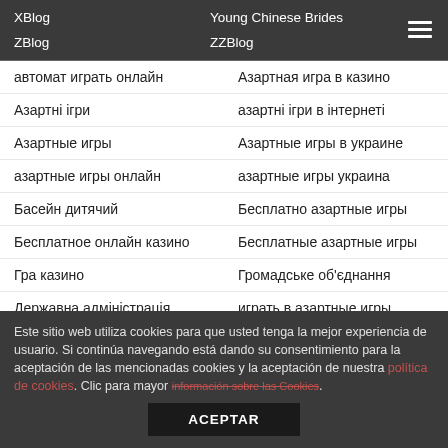XBlog
Young Chinese Brides
ZBlog
ZZBlog
автомат играть онлайн
Азартная игра в казино
Азартні ігри
азартні ігри в інтернеті
Азартные игры
Азартные игры в украине
азартные игры онлайн
азартные игры украина
Басейн дитячий
Бесплатно азартные игры
Бесплатное онлайн казино
Бесплатные азартные игры
Гра казино
Громадське об'єднання
Державна адміністрація
играть в азартные игры
Играть в игровые автоматы
Игровой клуб
Este sitio web utiliza cookies para que usted tenga la mejor experiencia de usuario. Si continúa navegando está dando su consentimiento para la aceptación de las mencionadas cookies y la aceptación de nuestra política de cookies. Clic para mayor información sobre las Cookies.
ACEPTAR